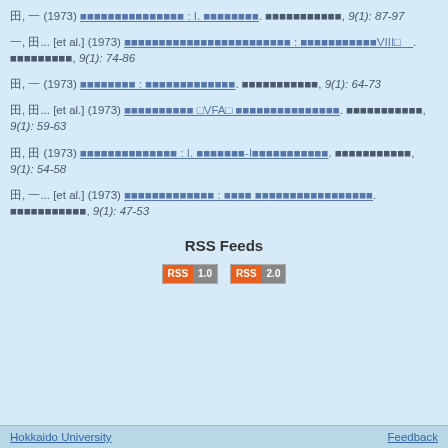田, 一 (1973) [Japanese title : I. subtitle]. 日本畜産学会報, 9(1): 87-97
一, 田... [et al.] (1973) [Japanese title : subtitle VIII□]. 日本畜産学会報, 9(1): 74-86
田, 一 (1973) [Japanese title : subtitle]. 日本畜産学会報, 9(1): 64-73
田, 田... [et al.] (1973) [Japanese title □VFA□ subtitle]. 日本畜産学会報, 9(1): 59-63
田, 田 (1973) [Japanese title : I. subtitle-Isubtitle]. 日本畜産学会報, 9(1): 54-58
田, 一... [et al.] (1973) [Japanese title : subtitle subtitle]. 日本畜産学会報, 9(1): 47-53
RSS Feeds
[Figure (other): RSS 1.0 and RSS 2.0 badge buttons]
Hokkaido University    Feedback